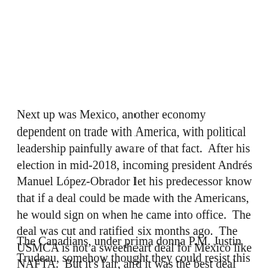Next up was Mexico, another economy dependent on trade with America, with political leadership painfully aware of that fact.  After his election in mid-2018, incoming president Andrés Manuel López-Obrador let his predecessor know that if a deal could be made with the Americans, he would sign on when he came into office.  The deal was cut and ratified six months ago.  The USMCA is not a sweetheart deal for Mexico like NAFTA.  But it's fair, and it was the best deal Mexico was going to get.
The Canadians, under prima donna P.M. Justin Trudeau, somehow thought they could resist this new trade regime.  But they soon had to confront the reality that